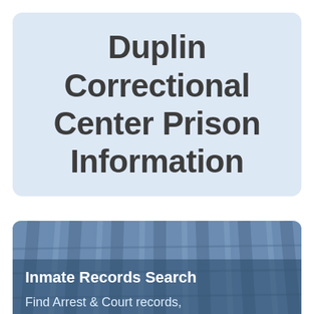Duplin Correctional Center Prison Information
[Figure (photo): Photo of prison bars/facility interior with blue tint overlay, with text overlay showing 'Inmate Records Search' and 'Find Arrest & Court records,']